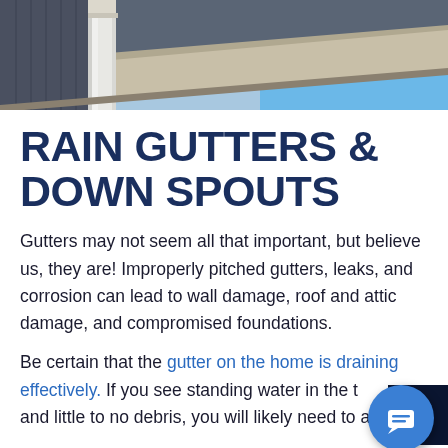[Figure (photo): Photograph of a house roofline showing gutters, downspout, and a clear blue sky in the background. The underside of the eave/soffit is visible in tan/beige color.]
RAIN GUTTERS & DOWN SPOUTS
Gutters may not seem all that important, but believe us, they are! Improperly pitched gutters, leaks, and corrosion can lead to wall damage, roof and attic damage, and compromised foundations.
Be certain that the gutter on the home is draining effectively. If you see standing water in the t... and little to no debris, you will likely need to adjust